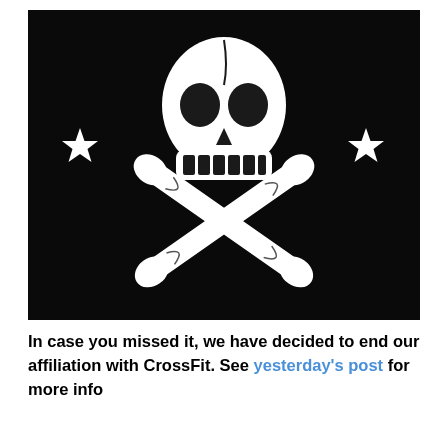[Figure (illustration): Black flag with white skull and crossbones in the center, and two white five-pointed stars, one on the left and one on the right at mid-height. The skull is detailed with dark eye sockets and visible teeth. Two crossed bones are beneath the skull.]
In case you missed it, we have decided to end our affiliation with CrossFit. See yesterday's post for more info